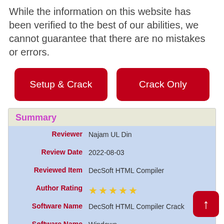While the information on this website has been verified to the best of our abilities, we cannot guarantee that there are no mistakes or errors.
[Figure (other): Two red buttons: 'Setup & Crack' and 'Crack Only']
Summary
| Field | Value |
| --- | --- |
| Reviewer | Najam UL Din |
| Review Date | 2022-08-03 |
| Reviewed Item | DecSoft HTML Compiler |
| Author Rating | ★★★★★ |
| Software Name | DecSoft HTML Compiler Crack |
| Software Name | Windows |
| Software Category | Software, Tool |